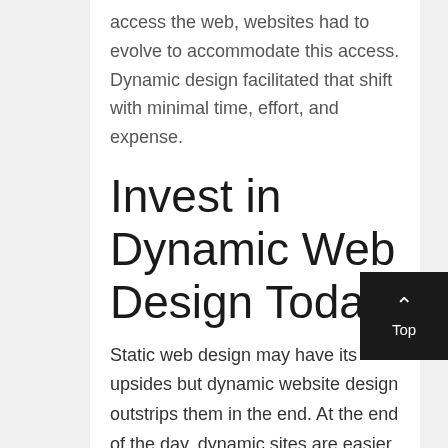access the web, websites had to evolve to accommodate this access. Dynamic design facilitated that shift with minimal time, effort, and expense.
Invest in Dynamic Web Design Today
Static web design may have its upsides but dynamic website design outstrips them in the end. At the end of the day, dynamic sites are easier to update, offer more extensive personalization, allow for user...